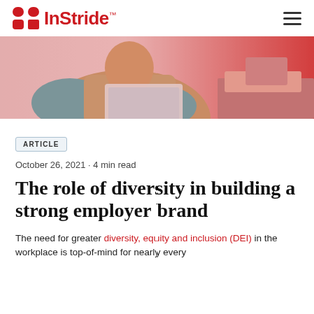InStride
[Figure (photo): Person in a beige/tan jacket and teal sleeves working at a laptop, with a pink/red tinted background]
ARTICLE
October 26, 2021 · 4 min read
The role of diversity in building a strong employer brand
The need for greater diversity, equity and inclusion (DEI) in the workplace is top-of-mind for nearly every